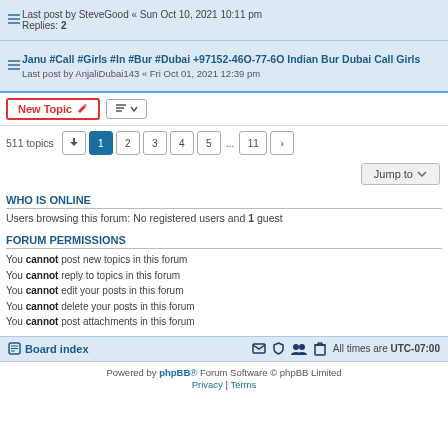Last post by SteveGood « Sun Oct 10, 2021 10:11 pm
Replies: 2
Janu #Call #Girls #In #Bur #Dubai +97152-46O-77-6O Indian Bur Dubai Call Girls
Last post by AnjaliDubai143 « Fri Oct 01, 2021 12:39 pm
511 topics
Users browsing this forum: No registered users and 1 guest
WHO IS ONLINE
FORUM PERMISSIONS
You cannot post new topics in this forum
You cannot reply to topics in this forum
You cannot edit your posts in this forum
You cannot delete your posts in this forum
You cannot post attachments in this forum
Board index | All times are UTC-07:00
Powered by phpBB® Forum Software © phpBB Limited
Privacy | Terms